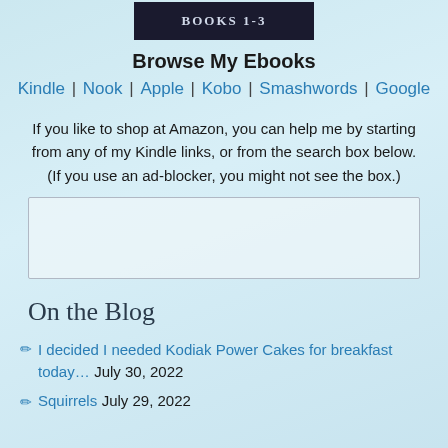[Figure (photo): Dark book cover image showing 'BOOKS 1-3' text]
Browse My Ebooks
Kindle | Nook | Apple | Kobo | Smashwords | Google
If you like to shop at Amazon, you can help me by starting from any of my Kindle links, or from the search box below. (If you use an ad-blocker, you might not see the box.)
[Figure (screenshot): Empty Amazon search box widget area]
On the Blog
I decided I needed Kodiak Power Cakes for breakfast today… July 30, 2022
Squirrels July 29, 2022